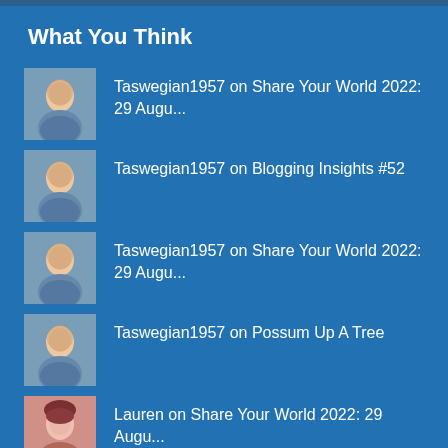What You Think
Taswegian1957 on Share Your World 2022: 29 Augu...
Taswegian1957 on Blogging Insights #52
Taswegian1957 on Share Your World 2022: 29 Augu...
Taswegian1957 on Possum Up A Tree
Lauren on Share Your World 2022: 29 Augu...